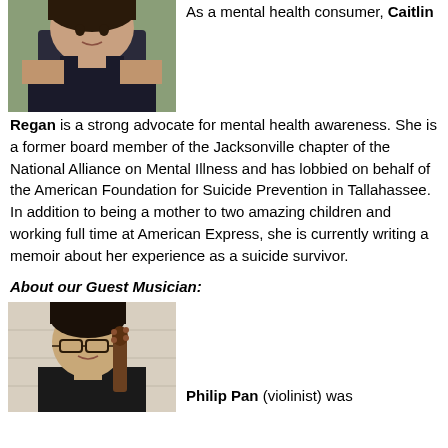[Figure (photo): Portrait photo of Caitlin Regan, a woman with dark hair, wearing a dark sleeveless top, outdoors with greenery in background]
As a mental health consumer, Caitlin Regan is a strong advocate for mental health awareness. She is a former board member of the Jacksonville chapter of the National Alliance on Mental Illness and has lobbied on behalf of the American Foundation for Suicide Prevention in Tallahassee. In addition to being a mother to two amazing children and working full time at American Express, she is currently writing a memoir about her experience as a suicide survivor.
About our Guest Musician:
[Figure (photo): Portrait photo of Philip Pan, a young Asian man with glasses holding a violin/cello, in front of a light-colored wall]
Philip Pan (violinist) was